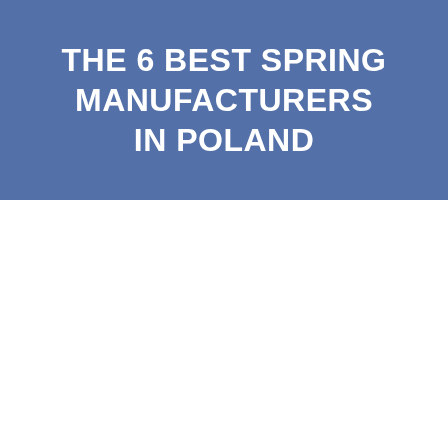THE 6 BEST SPRING MANUFACTURERS IN POLAND